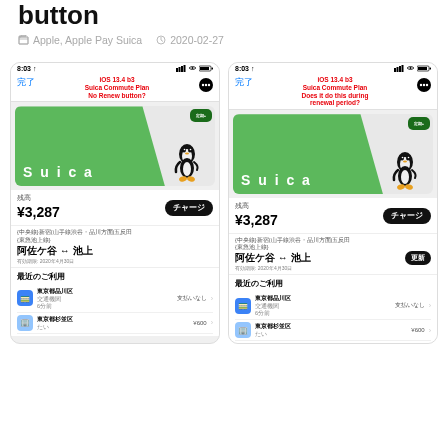button
Apple, Apple Pay Suica   2020-02-27
[Figure (screenshot): iPhone screenshot showing Suica Commute Plan in Wallet app with annotation in red: iOS 13.4 b3 Suica Commute Plan No Renew button? Shows balance ¥3,287, charge button, route 阿佐ケ谷 ↔ 池上, and recent usage rows.]
[Figure (screenshot): iPhone screenshot showing Suica Commute Plan in Wallet app with annotation in red: iOS 13.4 b3 Suica Commute Plan Does it do this during renewal period? Shows balance ¥3,287, charge button, route 阿佐ケ谷 ↔ 池上 with 更新 renew button, and recent usage rows.]